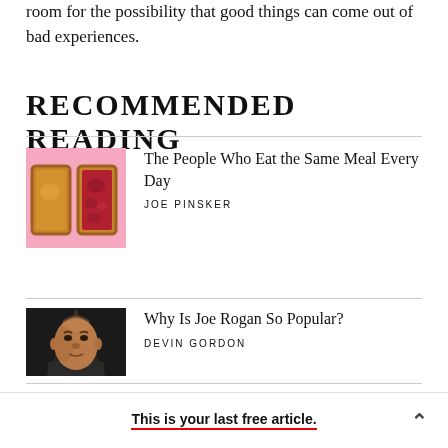room for the possibility that good things can come out of bad experiences.
RECOMMENDED READING
[Figure (illustration): Two slices of toast on a pink background — one with peanut butter, one with jelly/jam]
The People Who Eat the Same Meal Every Day
JOE PINSKER
[Figure (illustration): Illustrated portrait of Joe Rogan against a dark background with light rays]
Why Is Joe Rogan So Popular?
DEVIN GORDON
This is your last free article.